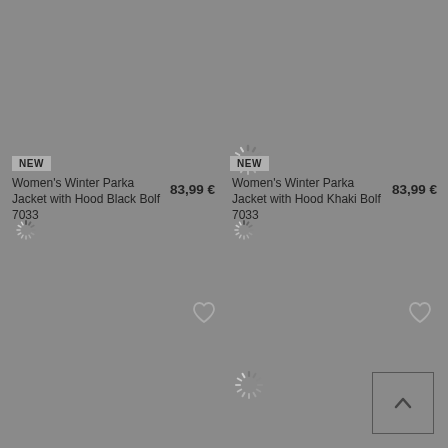[Figure (screenshot): Loading spinner top-left area]
[Figure (screenshot): Loading spinner top-right area]
NEW
Women's Winter Parka Jacket with Hood Black Bolf 7033
83,99 €
[Figure (screenshot): Small loading spinner below product 1]
NEW
Women's Winter Parka Jacket with Hood Khaki Bolf 7033
83,99 €
[Figure (screenshot): Small loading spinner below product 2]
[Figure (illustration): Heart/wishlist icon product 1]
[Figure (illustration): Heart/wishlist icon product 2]
[Figure (screenshot): Loading spinner bottom-left]
[Figure (screenshot): Loading spinner bottom-right]
[Figure (screenshot): Scroll to top button with up arrow]